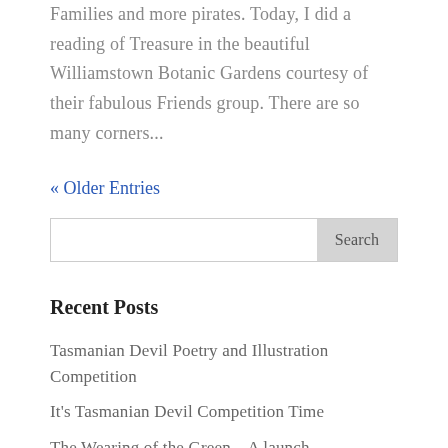Families and more pirates. Today, I did a reading of Treasure in the beautiful Williamstown Botanic Gardens courtesy of their fabulous Friends group. There are so many corners...
« Older Entries
[Figure (other): Search input bar with Search button]
Recent Posts
Tasmanian Devil Poetry and Illustration Competition
It's Tasmanian Devil Competition Time
The Wearing of the Green – A launch
Whispers and Wearing Green